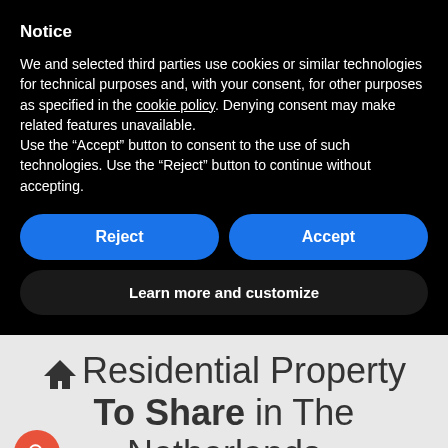Notice
We and selected third parties use cookies or similar technologies for technical purposes and, with your consent, for other purposes as specified in the cookie policy. Denying consent may make related features unavailable.
Use the “Accept” button to consent to the use of such technologies. Use the “Reject” button to continue without accepting.
Reject | Accept
Learn more and customize
⌂ Residential Property To Share in The Netherlands